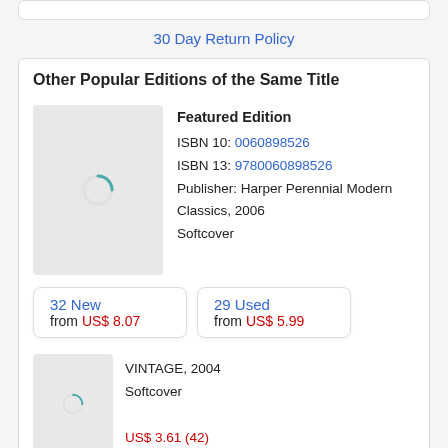30 Day Return Policy
Other Popular Editions of the Same Title
Featured Edition
ISBN 10: 0060898526
ISBN 13: 9780060898526
Publisher: Harper Perennial Modern Classics, 2006
Softcover
32 New
from US$ 8.07
29 Used
from US$ 5.99
VINTAGE, 2004
Softcover
US$ 3.61 (42)
Guer R... 2010